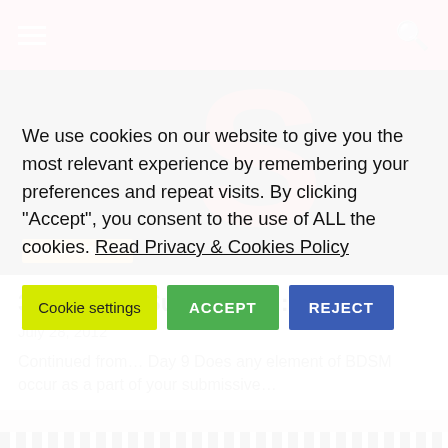Navigation bar with hamburger menu and search icon
[Figure (photo): Black background with large red letter S, with D/S JOURNEY badge overlay]
30 Days of Submission: Day 10
July 28, 2012
Continued from… Day 9 Does any element of BDSM occur as a part of your submissive…
[Figure (photo): Filmstrip pattern at bottom of page]
We use cookies on our website to give you the most relevant experience by remembering your preferences and repeat visits. By clicking "Accept", you consent to the use of ALL the cookies. Read Privacy & Cookies Policy
Cookie settings | ACCEPT | REJECT